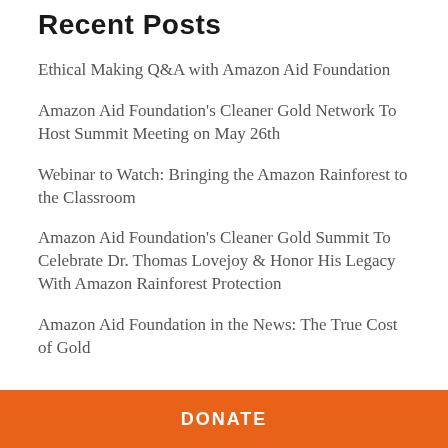Recent Posts
Ethical Making Q&A with Amazon Aid Foundation
Amazon Aid Foundation's Cleaner Gold Network To Host Summit Meeting on May 26th
Webinar to Watch: Bringing the Amazon Rainforest to the Classroom
Amazon Aid Foundation's Cleaner Gold Summit To Celebrate Dr. Thomas Lovejoy & Honor His Legacy With Amazon Rainforest Protection
Amazon Aid Foundation in the News: The True Cost of Gold
DONATE